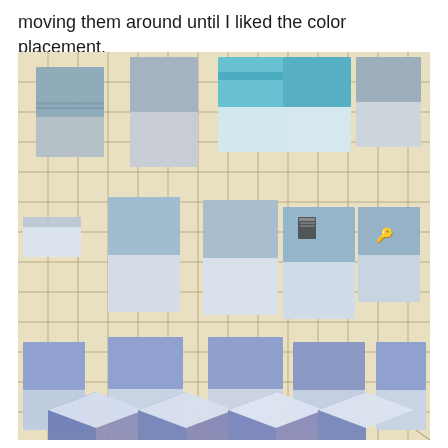moving them around until I liked the color placement.
[Figure (photo): Fabric quilt pieces arranged on a gridded cutting mat. The pieces are rectangular, showing various blue and teal patterns on top halves and white/light fabric on bottom halves, arranged in rows. The bottom row shows partially assembled diamond/tumbling block pattern pieces in blue and white.]